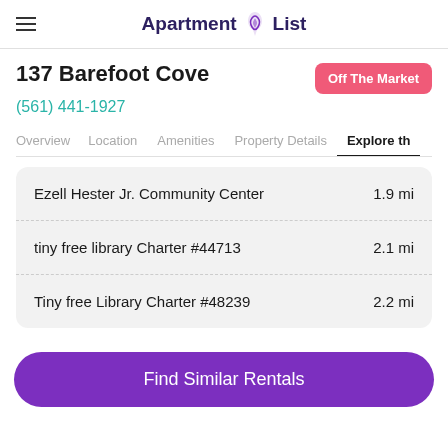Apartment List
137 Barefoot Cove
Off The Market
(561) 441-1927
Overview  Location  Amenities  Property Details  Explore th
Ezell Hester Jr. Community Center  1.9 mi
tiny free library Charter #44713  2.1 mi
Tiny free Library Charter #48239  2.2 mi
Find Similar Rentals